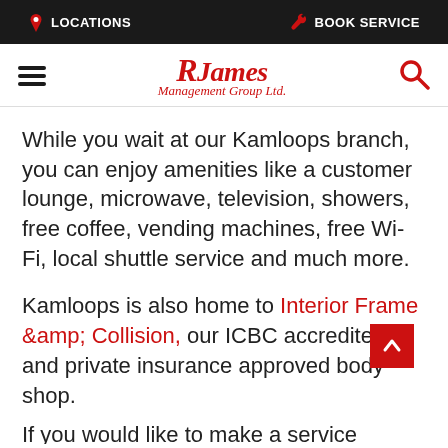LOCATIONS   BOOK SERVICE
[Figure (logo): RJames Management Group Ltd. logo with red script and black bold text]
While you wait at our Kamloops branch, you can enjoy amenities like a customer lounge, microwave, television, showers, free coffee, vending machines, free Wi-Fi, local shuttle service and much more.
Kamloops is also home to Interior Frame &amp; Collision, our ICBC accredited and private insurance approved body shop.
If you would like to make a service appointment,